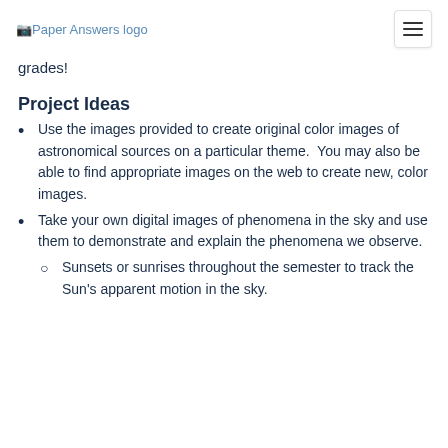Paper Answers logo
grades!
Project Ideas
Use the images provided to create original color images of astronomical sources on a particular theme.  You may also be able to find appropriate images on the web to create new, color images.
Take your own digital images of phenomena in the sky and use them to demonstrate and explain the phenomena we observe.
Sunsets or sunrises throughout the semester to track the Sun's apparent motion in the sky.